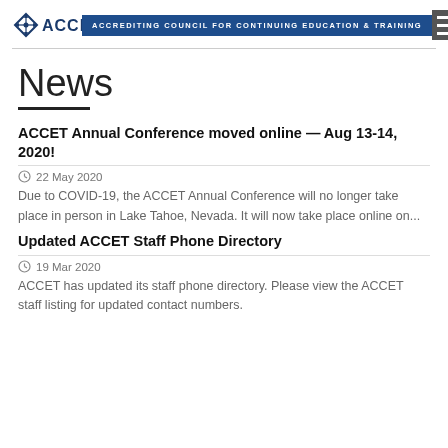ACCET — ACCREDITING COUNCIL FOR CONTINUING EDUCATION & TRAINING
News
ACCET Annual Conference moved online — Aug 13-14, 2020!
22 May 2020
Due to COVID-19, the ACCET Annual Conference will no longer take place in person in Lake Tahoe, Nevada. It will now take place online on...
Updated ACCET Staff Phone Directory
19 Mar 2020
ACCET has updated its staff phone directory. Please view the ACCET staff listing for updated contact numbers.